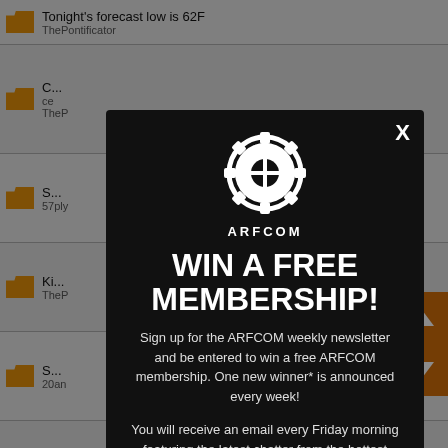Tonight's forecast low is 62F
ThePontificator
C... ce
TheP
S...
57ply
Ki...
TheP
S...
20an
ch...
some
(C... ns in
TheP
N...
Bklyn
[Figure (screenshot): ARFCOM modal popup with gear logo, 'WIN A FREE MEMBERSHIP!' headline, newsletter sign-up text, and email input field on dark background]
WIN A FREE MEMBERSHIP!
Sign up for the ARFCOM weekly newsletter and be entered to win a free ARFCOM membership. One new winner* is announced every week!
You will receive an email every Friday morning featuring the latest chatter from the hottest topics, breaking news surrounding legislation, as well as exclusive deals only available to ARFCOM email subscribers.